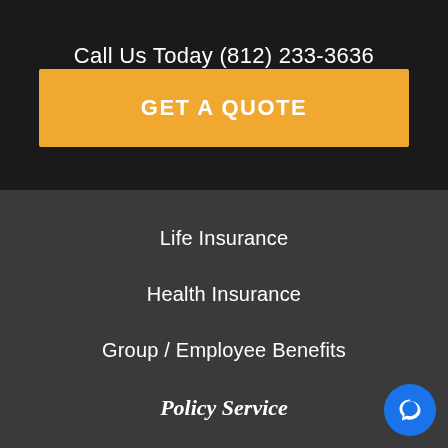Call Us Today (812) 233-3636
GET A QUOTE
Life Insurance
Health Insurance
Group / Employee Benefits
Policy Service